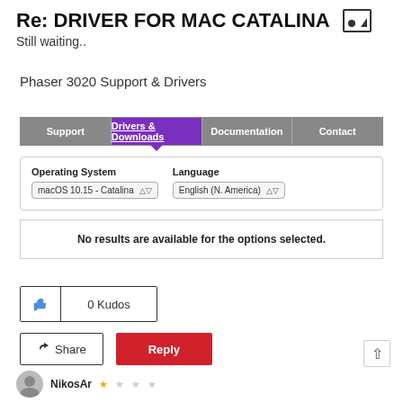Re: DRIVER FOR MAC CATALINA
Still waiting..
Phaser 3020 Support & Drivers
[Figure (screenshot): Navigation bar with tabs: Support, Drivers & Downloads (active/purple), Documentation, Contact; below it a filter box with Operating System dropdown showing macOS 10.15 - Catalina and Language dropdown showing English (N. America); below that a result box saying 'No results are available for the options selected.']
0 Kudos
Share
Reply
NikosAr